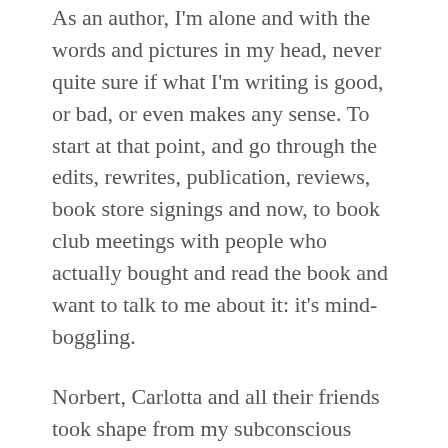As an author, I'm alone and with the words and pictures in my head, never quite sure if what I'm writing is good, or bad, or even makes any sense. To start at that point, and go through the edits, rewrites, publication, reviews, book store signings and now, to book club meetings with people who actually bought and read the book and want to talk to me about it: it's mind-boggling.
Norbert, Carlotta and all their friends took shape from my subconscious mind. To now sit in a roomful of readers and hear them talk about their own attachments to my characters and the personal meanings they found in the novel is an astonishing experience.
People I am meeting for the first time discuss with strong convictions how Carlotta truly does grow at